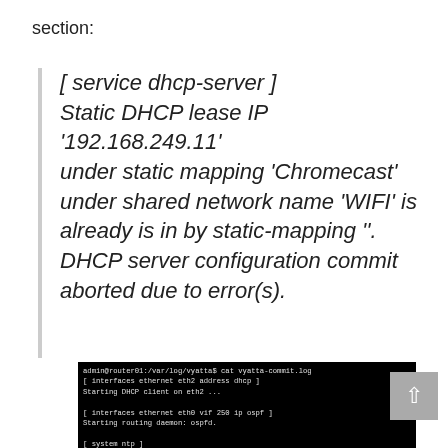section:
[ service dhcp-server ] Static DHCP lease IP '192.168.249.11' under static mapping 'Chromecast' under shared network name 'WIFI' is already is in by static-mapping ''. DHCP server configuration commit aborted due to error(s).
[Figure (screenshot): Terminal screenshot showing vyatta-commit.log output with service startup messages for DHCP client, OSPF routing daemon, NTP server, and SSH service, with www.ivobeerens.nl watermark overlay.]